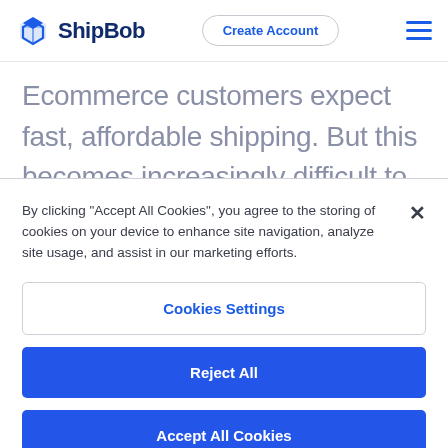ShipBob — Create Account (navigation bar with hamburger menu)
Ecommerce customers expect fast, affordable shipping. But this becomes increasingly difficult to deliver at a decent margin as your shipping volume grows and your customer base spreads across the
By clicking “Accept All Cookies”, you agree to the storing of cookies on your device to enhance site navigation, analyze site usage, and assist in our marketing efforts.
Cookies Settings
Reject All
Accept All Cookies